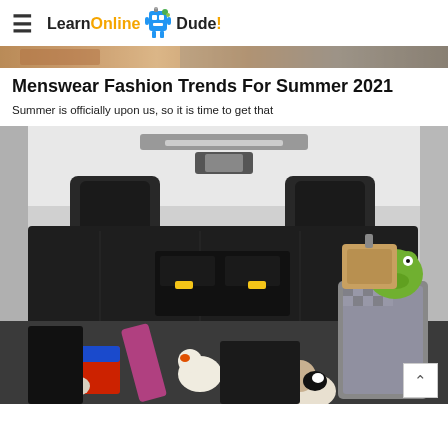LearnOnlineDude! (website logo with hamburger menu icon)
[Figure (photo): Top partial image showing the top edge of a cropped photo (person in summer fashion, mostly cut off)]
Menswear Fashion Trends For Summer 2021
Summer is officially upon us, so it is time to get that
[Figure (photo): Photo of the open trunk/cargo area of an SUV loaded with luggage, a yoga mat, stuffed animal toys (frog, cow, dog), a red and blue cooler, and a suitcase. The seats are folded and the vehicle interior is visible.]